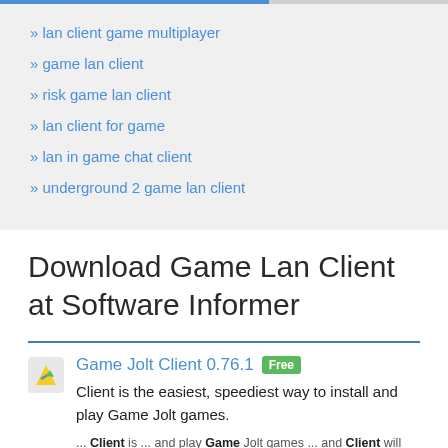lan client game multiplayer
game lan client
risk game lan client
lan client for game
lan in game chat client
underground 2 game lan client
Download Game Lan Client at Software Informer
Game Jolt Client 0.76.1  Free
Client is the easiest, speediest way to install and play Game Jolt games.
... Client is ... and play Game Jolt games ... and Client will download and unpack ... games, fast. Client keeps your ...